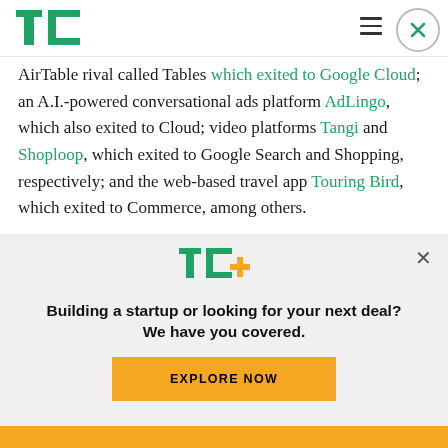TechCrunch logo, hamburger menu, close button
AirTable rival called Tables which exited to Google Cloud; an A.I.-powered conversational ads platform AdLingo, which also exited to Cloud; video platforms Tangi and Shoploop, which exited to Google Search and Shopping, respectively; and the web-based travel app Touring Bird, which exited to Commerce, among others.
[Figure (logo): TechCrunch TC+ logo in green with yellow plus sign]
Building a startup or looking for your next deal? We have you covered.
EXPLORE NOW